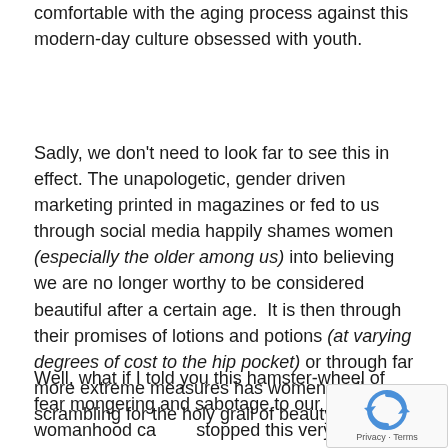comfortable with the aging process against this modern-day culture obsessed with youth.
Sadly, we don't need to look far to see this in effect. The unapologetic, gender driven marketing printed in magazines or fed to us through social media happily shames women (especially the older among us) into believing we are no longer worthy to be considered beautiful after a certain age.  It is then through their promises of lotions and potions (at varying degrees of cost to the hip pocket) or through far more extreme measures has women sadly scrambling for the holy grail of beauty.
Well, what if I told you this hamster-wheel of fear mongering and sabotage to our womanhood can be stopped this very instant – starting with you?